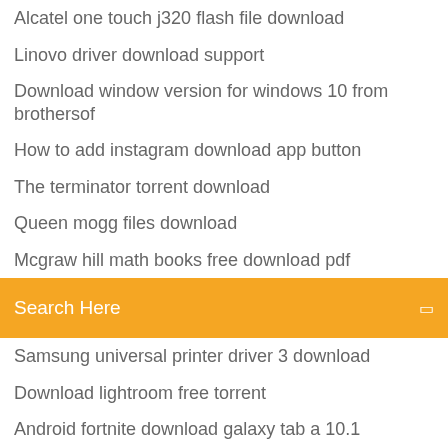Alcatel one touch j320 flash file download
Linovo driver download support
Download window version for windows 10 from brothersof
How to add instagram download app button
The terminator torrent download
Queen mogg files download
Mcgraw hill math books free download pdf
Search Here
Samsung universal printer driver 3 download
Download lightroom free torrent
Android fortnite download galaxy tab a 10.1
Battlefield 5 app download
Advanced instant pot recipes pdf download
Download game android ringan offline membangun
Apps will not download
How do download desktop icons into icons file
Iacocca pdf download online free
Torrent download wonmore than 1kb